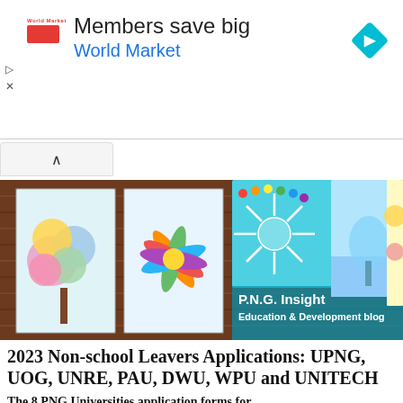[Figure (screenshot): Advertisement banner: 'Members save big / World Market' with a red World Market logo on the left, blue navigation arrow diamond icon on the right, and play/close controls on the far left.]
[Figure (photo): Hero banner image showing colorful children's artwork paintings hung on a wooden wall, with text overlay reading 'P.N.G. Insight Education & Development blog']
2023 Non-school Leavers Applications: UPNG, UOG, UNRE, PAU, DWU, WPU and UNITECH
The 8 PNG Universities application forms for